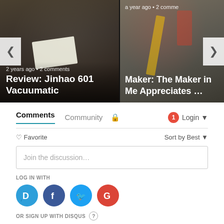[Figure (screenshot): Carousel with two article cards. Left card shows a dark package photo with text '2 years ago • 2 comments' and title 'Review: Jinhao 601 Vacuumatic'. Right card shows a food/craft photo with text 'a year ago • 2 comme' and title 'Maker: The Maker in Me Appreciates …'. Navigation arrows on left and right sides.]
Comments
Community
Login
♡ Favorite
Sort by Best
Join the discussion…
LOG IN WITH
OR SIGN UP WITH DISQUS